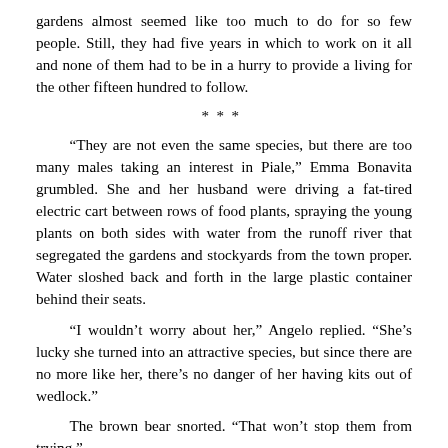gardens almost seemed like too much to do for so few people. Still, they had five years in which to work on it all and none of them had to be in a hurry to provide a living for the other fifteen hundred to follow.
***
“They are not even the same species, but there are too many males taking an interest in Piale,” Emma Bonavita grumbled. She and her husband were driving a fat-tired electric cart between rows of food plants, spraying the young plants on both sides with water from the runoff river that segregated the gardens and stockyards from the town proper. Water sloshed back and forth in the large plastic container behind their seats.
“I wouldn’t worry about her,” Angelo replied. “She’s lucky she turned into an attractive species, but since there are no more like her, there’s no danger of her having kits out of wedlock.”
The brown bear snorted. “That won’t stop them from trying.”
“Piale is an adult. She can make up her own